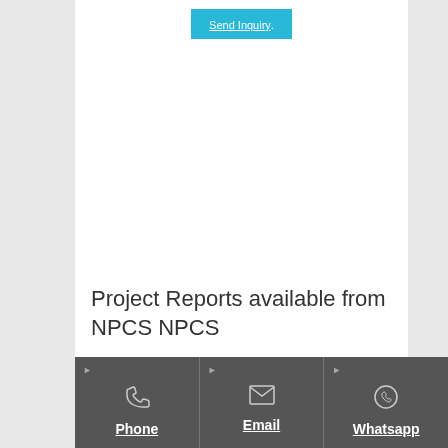[Figure (other): Send Inquiry button in cyan/teal color with underlined white text]
Project Reports available from NPCS NPCS
Phone | Email | Whatsapp